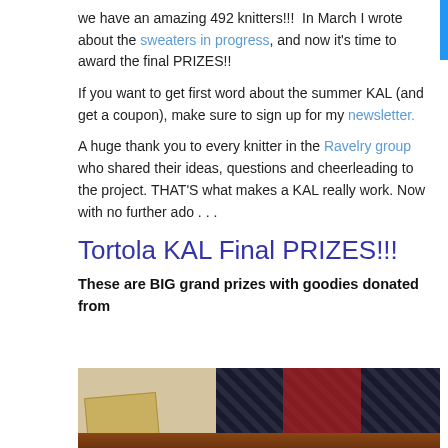we have an amazing 492 knitters!!!  In March I wrote about the sweaters in progress, and now it’s time to award the final PRIZES!!
If you want to get first word about the summer KAL (and get a coupon), make sure to sign up for my newsletter.
A huge thank you to every knitter in the Ravelry group who shared their ideas, questions and cheerleading to the project. THAT’S what makes a KAL really work. Now with no further ado . . .
Tortola KAL Final PRIZES!!!
These are BIG grand prizes with goodies donated from
[Figure (photo): Photo of prize items including a woven basket/tray and a decorated cylindrical container with black and white imagery, set on a wooden floor against a white baseboard.]